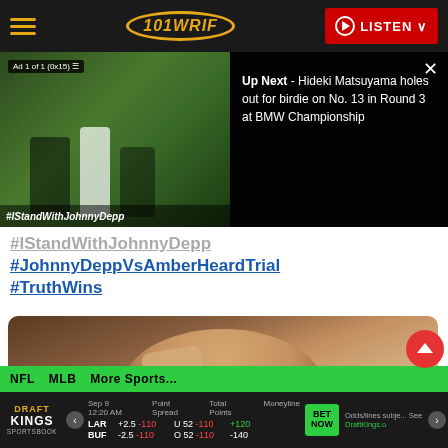101 WRIF — LISTEN
[Figure (screenshot): Video player showing golf scene with ad badge 'Ad 1 of 1 (0x15)' and overlay panel showing 'Up Next - Hideki Matsuyama holes out for birdie on No. 13 in Round 3 at BMW Championship']
#IStandWithJohnnyDepp #JohnnyDeppVsAmberHeardTrial #TruthWins
[Figure (photo): Photo of a man (Johnny Depp) smiling and waving at the camera inside a courtroom, wearing a dark suit]
NFL   MLB   More Sports...   DraftKings Sportsbook: Sep 9 12:20 AM | Point Spread: LAR +2.5 -110, BUF -2.5 -110 | Total Points: U 52 -110, O 52 -110 | Moneyline: +120, -140 | BET NOW | Odds/lines subject to change. See DraftKings.com